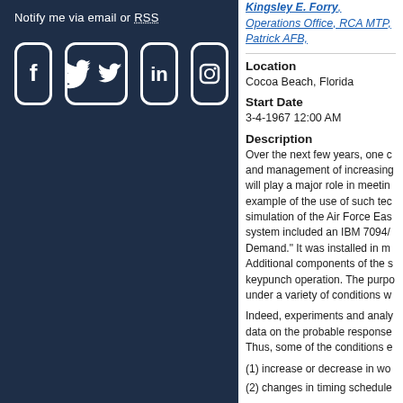Notify me via email or RSS
[Figure (illustration): Social media icons: Facebook, Twitter, LinkedIn, Instagram in white on dark navy rounded-square boxes]
Kingsley E. Forry, Operations Office, RCA MTP, Patrick AFB,
Location
Cocoa Beach, Florida
Start Date
3-4-1967 12:00 AM
Description
Over the next few years, one c and management of increasing will play a major role in meetin example of the use of such tec simulation of the Air Force Eas system included an IBM 7094/ Demand." It was installed in m Additional components of the s keypunch operation. The purpo under a variety of conditions w
Indeed, experiments and analy data on the probable response Thus, some of the conditions e
(1) increase or decrease in wo
(2) changes in timing schedule